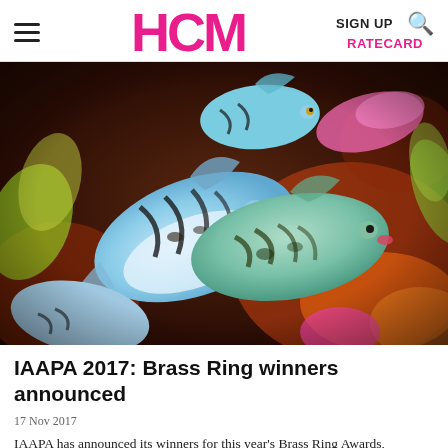HCM — SIGN UP | RATECARD
[Figure (photo): Colorful aquatic creature toys/figures (fish-like dinosaurs) in blue, teal, pink, and yellow, densely grouped together.]
IAAPA 2017: Brass Ring winners announced
17 Nov 2017
IAAPA has announced its winners for this year's Brass Ring Awards, recognising excellence for...